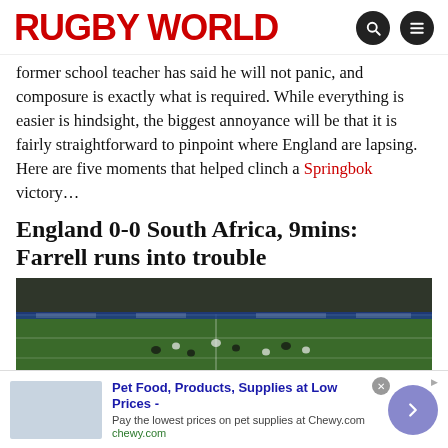RUGBY WORLD
former school teacher has said he will not panic, and composure is exactly what is required. While everything is easier is hindsight, the biggest annoyance will be that it is fairly straightforward to pinpoint where England are lapsing. Here are five moments that helped clinch a Springbok victory…
England 0-0 South Africa, 9mins: Farrell runs into trouble
[Figure (photo): Rugby match aerial view of players on a green pitch with a crowded stadium in the background]
Pet Food, Products, Supplies at Low Prices - Pay the lowest prices on pet supplies at Chewy.com chewy.com